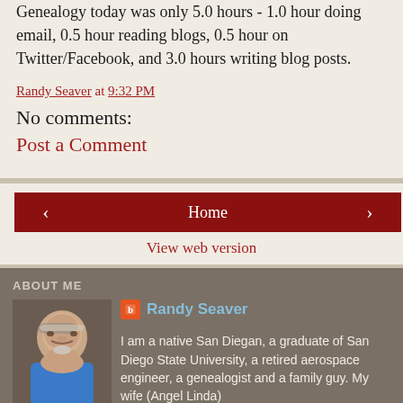Genealogy today was only 5.0 hours - 1.0 hour doing email, 0.5 hour reading blogs, 0.5 hour on Twitter/Facebook, and 3.0 hours writing blog posts.
Randy Seaver at 9:32 PM
No comments:
Post a Comment
ABOUT ME
Randy Seaver
I am a native San Diegan, a graduate of San Diego State University, a retired aerospace engineer, a genealogist and a family guy. My wife (Angel Linda)